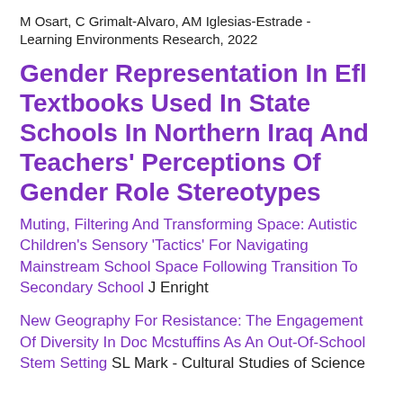M Osart, C Grimalt-Alvaro, AM Iglesias-Estrade - Learning Environments Research, 2022
Gender Representation In Efl Textbooks Used In State Schools In Northern Iraq And Teachers' Perceptions Of Gender Role Stereotypes
Muting, Filtering And Transforming Space: Autistic Children's Sensory 'Tactics' For Navigating Mainstream School Space Following Transition To Secondary School J Enright
New Geography For Resistance: The Engagement Of Diversity In Doc Mcstuffins As An Out-Of-School Stem Setting SL Mark - Cultural Studies of Science